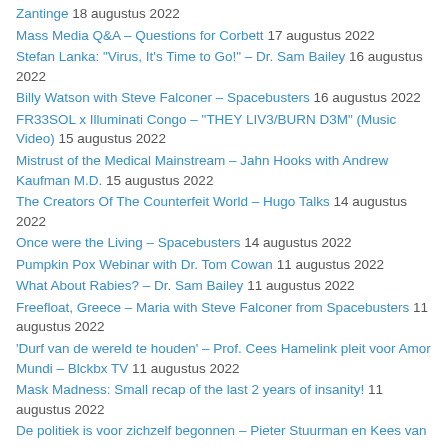Zantinge 18 augustus 2022
Mass Media Q&A – Questions for Corbett 17 augustus 2022
Stefan Lanka: "Virus, It's Time to Go!" – Dr. Sam Bailey 16 augustus 2022
Billy Watson with Steve Falconer – Spacebusters 16 augustus 2022
FR33SOL x Illuminati Congo – "THEY LIV3/BURN D3M" (Music Video) 15 augustus 2022
Mistrust of the Medical Mainstream – Jahn Hooks with Andrew Kaufman M.D. 15 augustus 2022
The Creators Of The Counterfeit World – Hugo Talks 14 augustus 2022
Once were the Living – Spacebusters 14 augustus 2022
Pumpkin Pox Webinar with Dr. Tom Cowan 11 augustus 2022
What About Rabies? – Dr. Sam Bailey 11 augustus 2022
Freefloat, Greece – Maria with Steve Falconer from Spacebusters 11 augustus 2022
'Durf van de wereld te houden' – Prof. Cees Hamelink pleit voor Amor Mundi – Blckbx TV 11 augustus 2022
Mask Madness: Small recap of the last 2 years of insanity! 11 augustus 2022
De politiek is voor zichzelf begonnen – Pieter Stuurman en Kees van...